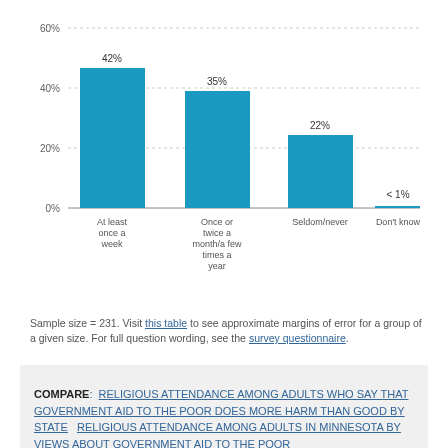[Figure (bar-chart): Religious attendance]
Sample size = 231. Visit this table to see approximate margins of error for a group of a given size. For full question wording, see the survey questionnaire.
COMPARE: RELIGIOUS ATTENDANCE AMONG ADULTS WHO SAY THAT GOVERNMENT AID TO THE POOR DOES MORE HARM THAN GOOD BY STATE   RELIGIOUS ATTENDANCE AMONG ADULTS IN MINNESOTA BY VIEWS ABOUT GOVERNMENT AID TO THE POOR